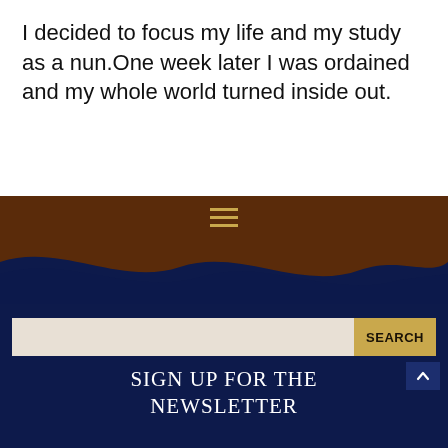I decided to focus my life and my study as a nun.One week later I was ordained and my whole world turned inside out.
[Figure (screenshot): Brown navigation bar with a hamburger menu icon (three horizontal gold lines) and a dark navy wave shape at the bottom transitioning to a navy section below.]
[Figure (screenshot): Search bar with beige input field and gold SEARCH button on navy background, with scroll-to-top arrow button on the right.]
SIGN UP FOR THE NEWSLETTER
You'll get news and updates when they become available, get special content just for subscribers, discount offers and more!